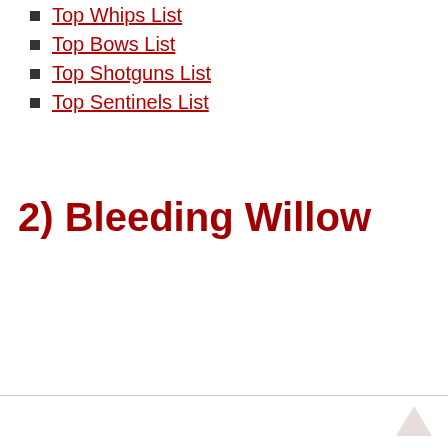Top Whips List
Top Bows List
Top Shotguns List
Top Sentinels List
2) Bleeding Willow